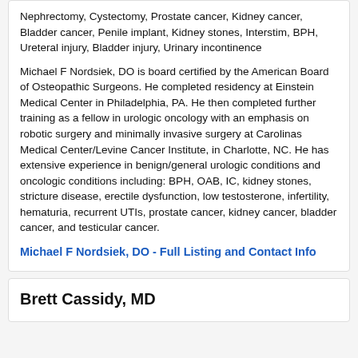Nephrectomy, Cystectomy, Prostate cancer, Kidney cancer, Bladder cancer, Penile implant, Kidney stones, Interstim, BPH, Ureteral injury, Bladder injury, Urinary incontinence
Michael F Nordsiek, DO is board certified by the American Board of Osteopathic Surgeons. He completed residency at Einstein Medical Center in Philadelphia, PA. He then completed further training as a fellow in urologic oncology with an emphasis on robotic surgery and minimally invasive surgery at Carolinas Medical Center/Levine Cancer Institute, in Charlotte, NC. He has extensive experience in benign/general urologic conditions and oncologic conditions including: BPH, OAB, IC, kidney stones, stricture disease, erectile dysfunction, low testosterone, infertility, hematuria, recurrent UTIs, prostate cancer, kidney cancer, bladder cancer, and testicular cancer.
Michael F Nordsiek, DO - Full Listing and Contact Info
Brett Cassidy, MD